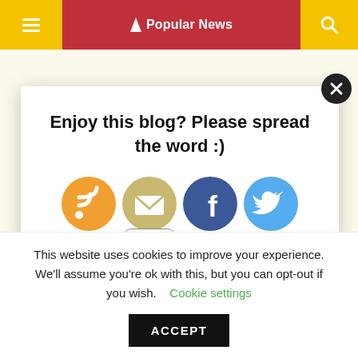☰  ⚡ Popular News  🔍
[Figure (screenshot): Modal popup with social sharing icons: RSS (orange), Email (gold/beige), Facebook (blue), Twitter (light blue). Email icon has badge showing '150'.]
Enjoy this blog? Please spread the word :)
150
This website uses cookies to improve your experience. We'll assume you're ok with this, but you can opt-out if you wish.
Cookie settings
ACCEPT